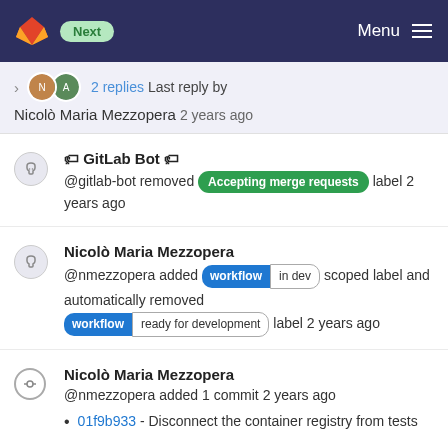Next  Menu
2 replies Last reply by Nicolò Maria Mezzopera 2 years ago
🏷 GitLab Bot 🏷
@gitlab-bot removed Accepting merge requests label 2 years ago
Nicolò Maria Mezzopera
@nmezzopera added workflow in dev scoped label and automatically removed workflow ready for development label 2 years ago
Nicolò Maria Mezzopera
@nmezzopera added 1 commit 2 years ago
01f9b933 - Disconnect the container registry from tests
Compare with previous version